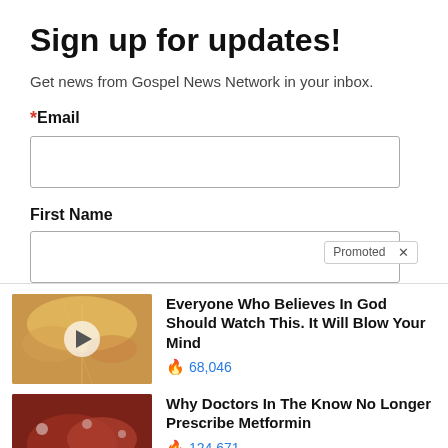Sign up for updates!
Get news from Gospel News Network in your inbox.
*Email
First Name
[Figure (illustration): Thumbnail image of sky with clouds and light rays, with a play button overlay]
Everyone Who Believes In God Should Watch This. It Will Blow Your Mind
🔥 68,046
[Figure (photo): Thumbnail image of internal organ tissue, reddish-brown with white dots]
Why Doctors In The Know No Longer Prescribe Metformin
🔥 124,671